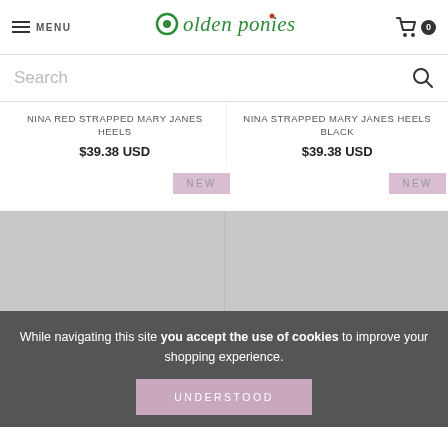MENU | Golden ponies | 0
Search
NINA RED STRAPPED MARY JANES HEELS
$39.38 USD
NINA STRAPPED MARY JANES HEELS BLACK
$39.38 USD
NEW
NEW
While navigating this site you accept the use of cookies to improve your shopping experience.
UNDERSTOOD